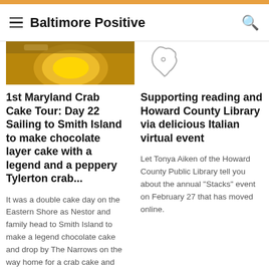Baltimore Positive
[Figure (photo): Food photo showing a yellow plate with crab cake dish]
[Figure (illustration): Outline map shape icon]
1st Maryland Crab Cake Tour: Day 22 Sailing to Smith Island to make chocolate layer cake with a legend and a peppery Tylerton crab...
Supporting reading and Howard County Library via delicious Italian virtual event
It was a double cake day on the Eastern Shore as Nestor and family head to Smith Island to make a legend chocolate cake and drop by The Narrows on the way home for a crab cake and
Let Tonya Aiken of the Howard County Public Library tell you about the annual "Stacks" event on February 27 that has moved online.